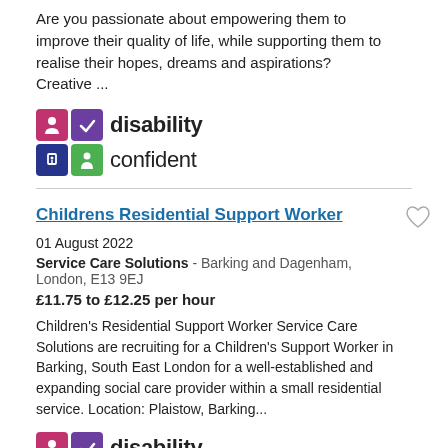Are you passionate about empowering them to improve their quality of life, while supporting them to realise their hopes, dreams and aspirations? Creative ...
[Figure (logo): Disability Confident logo with four coloured icons (pink, purple, dark blue, green) and two-line text 'disability confident']
Childrens Residential Support Worker
01 August 2022
Service Care Solutions - Barking and Dagenham, London, E13 9EJ
£11.75 to £12.25 per hour
Children's Residential Support Worker Service Care Solutions are recruiting for a Children's Support Worker in Barking, South East London for a well-established and expanding social care provider within a small residential service. Location: Plaistow, Barking...
[Figure (logo): Disability logo partial (two icons visible: pink and purple) with text 'disability']